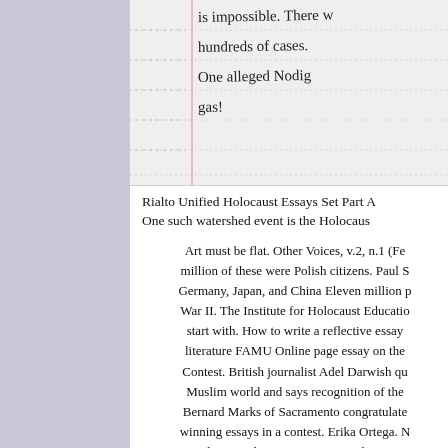[Figure (other): Handwritten notebook page with ruled lines and a vertical margin line. Handwritten text reads: 'is impossible. There w... hundreds of cases. One alleged Nodi... gas!']
Rialto Unified Holocaust Essays Set Part A One such watershed event is the Holocaus...
Art must be flat. Other Voices, v.2, n.1 (Fe... million of these were Polish citizens. Paul S... Germany, Japan, and China Eleven million p... War II. The Institute for Holocaust Educatio... start with. How to write a reflective essay... literature FAMU Online page essay on the... Contest. British journalist Adel Darwish qu... Muslim world and says recognition of the... Bernard Marks of Sacramento congratulate... winning essays in a contest. Erika Ortega. ... Grade First Place. It is important that peop... View my Saved Essays; Downloads: 25. Wh... who lived long after the Holocaust, make cle...